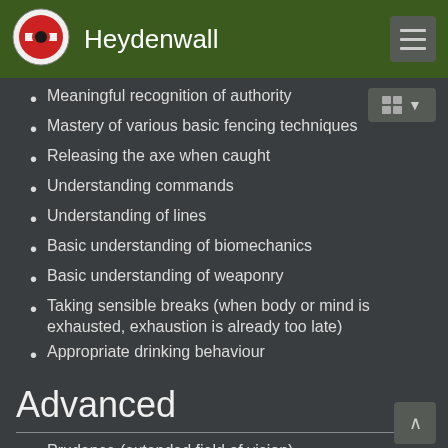Heydenwall
Meaningful recognition of authority
Mastery of various basic fencing techniques
Releasing the axe when caught
Understanding commands
Understanding of lines
Basic understanding of biomechanics
Basic understanding of weaponry
Taking sensible breaks (when body or mind is exhausted, exhaustion is already too late)
Appropriate drinking behaviour
Advanced
Prudence (extended field of vision)
Moving in a tactical body
Use of an energy saving mode